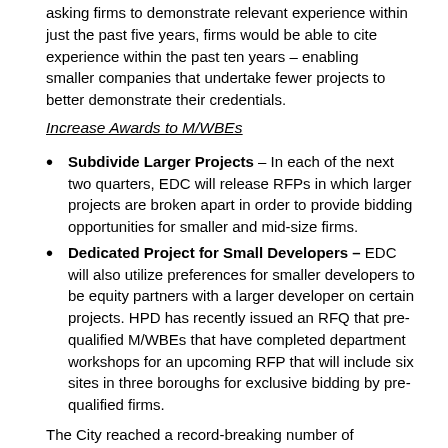asking firms to demonstrate relevant experience within just the past five years, firms would be able to cite experience within the past ten years – enabling smaller companies that undertake fewer projects to better demonstrate their credentials.
Increase Awards to M/WBEs
Subdivide Larger Projects – In each of the next two quarters, EDC will release RFPs in which larger projects are broken apart in order to provide bidding opportunities for smaller and mid-size firms.
Dedicated Project for Small Developers – EDC will also utilize preferences for smaller developers to be equity partners with a larger developer on certain projects. HPD has recently issued an RFQ that pre-qualified M/WBEs that have completed department workshops for an upcoming RFP that will include six sites in three boroughs for exclusive bidding by pre-qualified firms.
The City reached a record-breaking number of certified M/WBEs in Fiscal Year 2015 – over 4,100